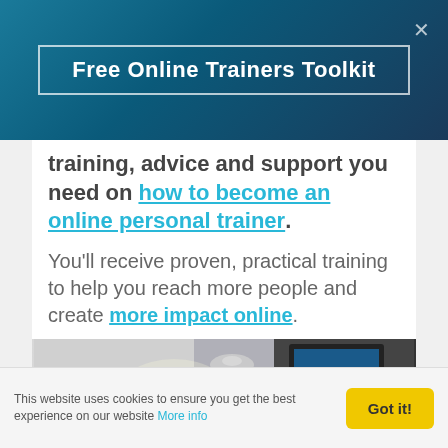Free Online Trainers Toolkit
training, advice and support you need on how to become an online personal trainer.
You'll receive proven, practical training to help you reach more people and create more impact online.
[Figure (photo): Photo showing a desk lamp and computer monitor screen]
This website uses cookies to ensure you get the best experience on our website More info